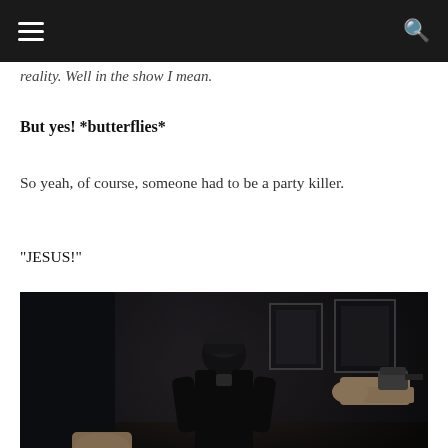reality. Well in the show I mean.
But yes! *butterflies*
So yeah, of course, someone had to be a party killer.
"JESUS!"
[Figure (photo): Dark scene showing a man in a black jacket and beanie hat with someone pointing a gun at him in a dimly lit room with framed artwork on the wall.]